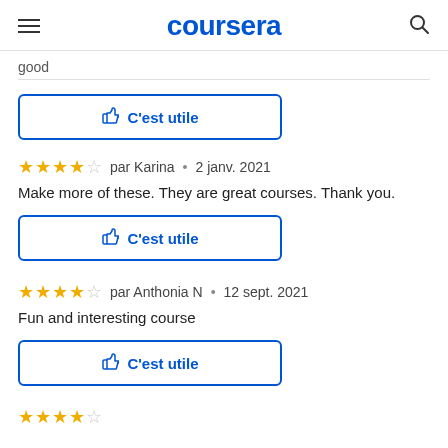coursera
good
C'est utile
par Karina • 2 janv. 2021
Make more of these. They are great courses. Thank you.
C'est utile
par Anthonia N • 12 sept. 2021
Fun and interesting course
C'est utile